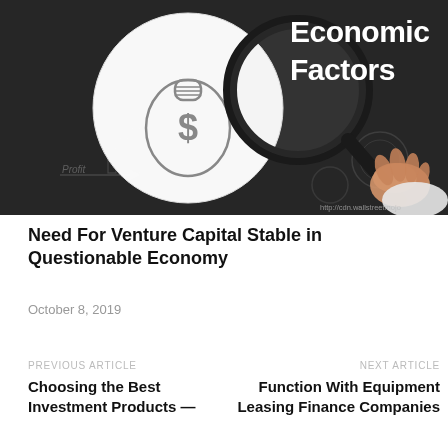[Figure (illustration): Dark chalkboard background with economic diagrams. A large white circle on the left contains a hand-drawn money bag with a dollar sign. A hand holds a magnifying glass over charts/graphs. White bold text reads 'Economic Factors' in the upper right. A watermark reads 'http://cdn.wallstreetmojo' at the bottom right.]
Need For Venture Capital Stable in Questionable Economy
October 8, 2019
PREVIOUS ARTICLE
Choosing the Best Investment Products —
NEXT ARTICLE
Function With Equipment Leasing Finance Companies